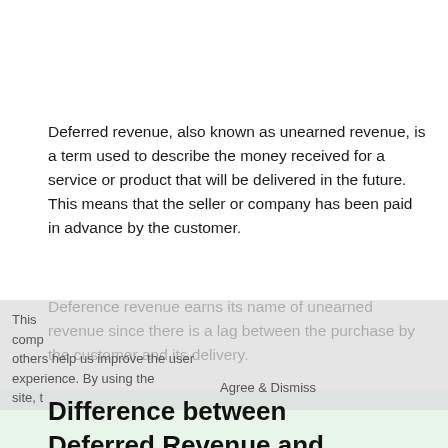Deferred revenue, also known as unearned revenue, is a term used to describe the money received for a service or product that will be delivered in the future. This means that the seller or company has been paid in advance by the customer.
Deference revenue earns its name of unearned revenue since there is a lag between the purchase by the customer and its delivery.
Difference between Deferred Revenue and